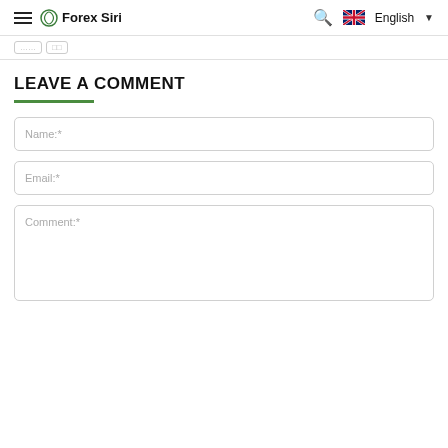Forex Siri — English
LEAVE A COMMENT
[Figure (screenshot): Name input field placeholder]
[Figure (screenshot): Email input field placeholder]
[Figure (screenshot): Comment textarea placeholder]